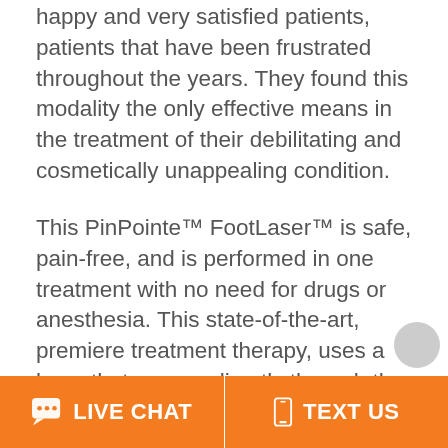happy and very satisfied patients, patients that have been frustrated throughout the years. They found this modality the only effective means in the treatment of their debilitating and cosmetically unappealing condition.
This PinPointe™ FootLaser™ is safe, pain-free, and is performed in one treatment with no need for drugs or anesthesia. This state-of-the-art, premiere treatment therapy, uses a laser that passes directly through the nail to target the precise infection site. As the laser passes through the nail, it identifies and destroys the pathogens that cause the fungus. The laser does not harm
LIVE CHAT   TEXT US